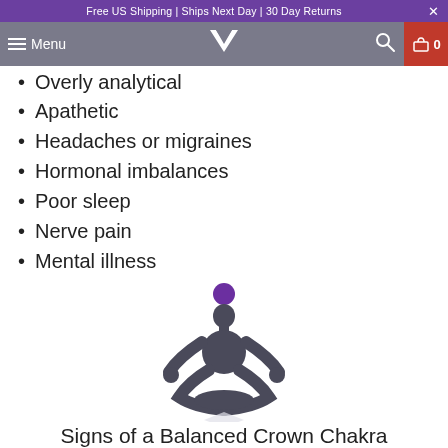Free US Shipping | Ships Next Day | 30 Day Returns
Menu
Overly analytical
Apathetic
Headaches or migraines
Hormonal imbalances
Poor sleep
Nerve pain
Mental illness
[Figure (illustration): Silhouette of a person in a meditation lotus pose with a purple circle (crown chakra) above the head, and a white/light diamond shape beneath, on a white background.]
Signs of a Balanced Crown Chakra